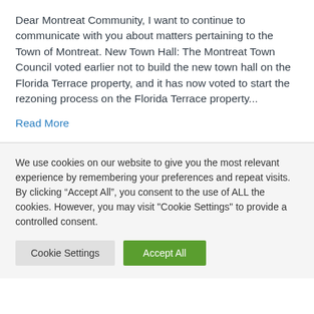Dear Montreat Community, I want to continue to communicate with you about matters pertaining to the Town of Montreat. New Town Hall: The Montreat Town Council voted earlier not to build the new town hall on the Florida Terrace property, and it has now voted to start the rezoning process on the Florida Terrace property...
Read More
We use cookies on our website to give you the most relevant experience by remembering your preferences and repeat visits. By clicking "Accept All", you consent to the use of ALL the cookies. However, you may visit "Cookie Settings" to provide a controlled consent.